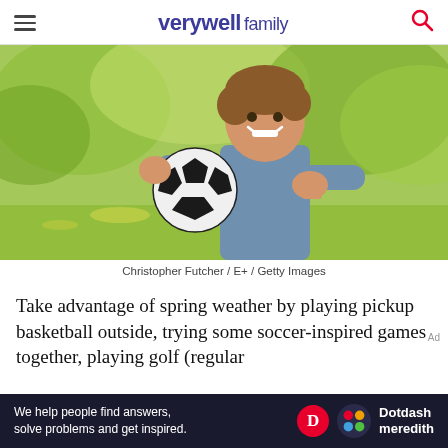verywell family
[Figure (photo): A smiling boy holding a soccer ball outdoors in a green field]
Christopher Futcher / E+ / Getty Images
Take advantage of spring weather by playing pickup basketball outside, trying some soccer-inspired games together, playing golf (regular
[Figure (other): Dotdash Meredith advertisement banner: We help people find answers, solve problems and get inspired.]